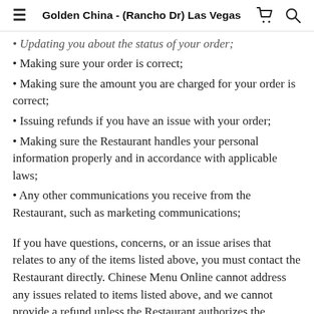Golden China - (Rancho Dr) Las Vegas
Updating you about the status of your order;
Making sure your order is correct;
Making sure the amount you are charged for your order is correct;
Issuing refunds if you have an issue with your order;
Making sure the Restaurant handles your personal information properly and in accordance with applicable laws;
Any other communications you receive from the Restaurant, such as marketing communications;
If you have questions, concerns, or an issue arises that relates to any of the items listed above, you must contact the Restaurant directly. Chinese Menu Online cannot address any issues related to items listed above, and we cannot provide a refund unless the Restaurant authorizes the refund.